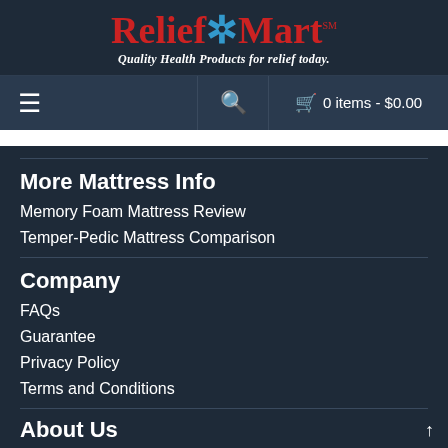[Figure (logo): Relief*Mart logo with red text and blue star, tagline: Quality Health Products for relief today.]
≡   🔍   🛒 0 items - $0.00
More Mattress Info
Memory Foam Mattress Review
Temper-Pedic Mattress Comparison
Company
FAQs
Guarantee
Privacy Policy
Terms and Conditions
About Us